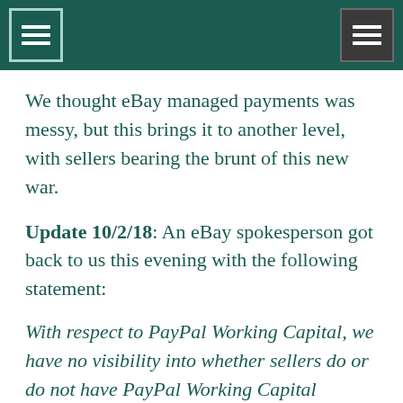[Navigation header with menu icons]
We thought eBay managed payments was messy, but this brings it to another level, with sellers bearing the brunt of this new war.
Update 10/2/18: An eBay spokesperson got back to us this evening with the following statement:
With respect to PayPal Working Capital, we have no visibility into whether sellers do or do not have PayPal Working Capital relationships and cannot advise them on the terms of their relationship with PayPal.